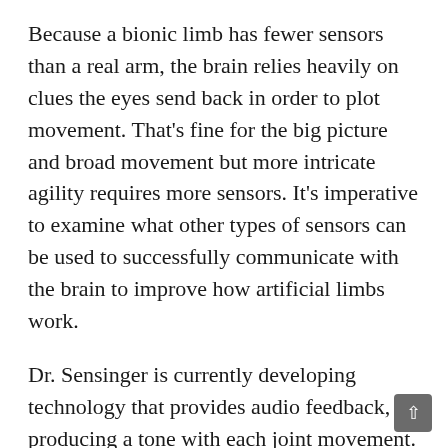Because a bionic limb has fewer sensors than a real arm, the brain relies heavily on clues the eyes send back in order to plot movement. That's fine for the big picture and broad movement but more intricate agility requires more sensors. It's imperative to examine what other types of sensors can be used to successfully communicate with the brain to improve how artificial limbs work.
Dr. Sensinger is currently developing technology that provides audio feedback, producing a tone with each joint movement. Recent studies suggest that this new technology is improving performance.
His research also includes the burgeoning field of exoskeletons – powered orthoses used for